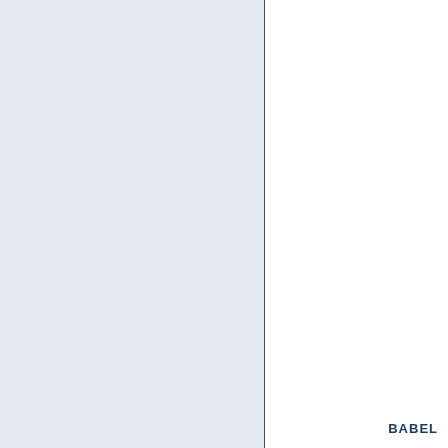[Figure (other): Two-panel layout: left panel with light blue-grey background color, separated by a thin dark vertical dividing line from the right white panel. BABEL logo text appears in the bottom-right corner.]
BABEL